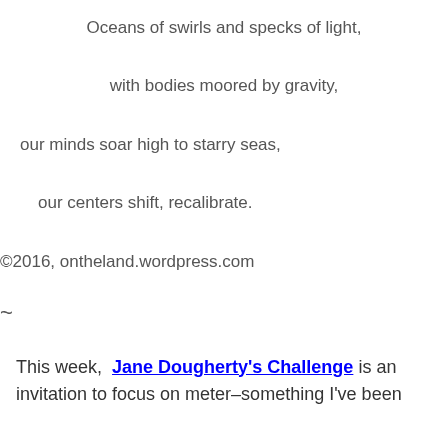Oceans of swirls and specks of light,
with bodies moored by gravity,
our minds soar high to starry seas,
our centers shift, recalibrate.
©2016, ontheland.wordpress.com
~
This week, Jane Dougherty's Challenge is an invitation to focus on meter–something I've been